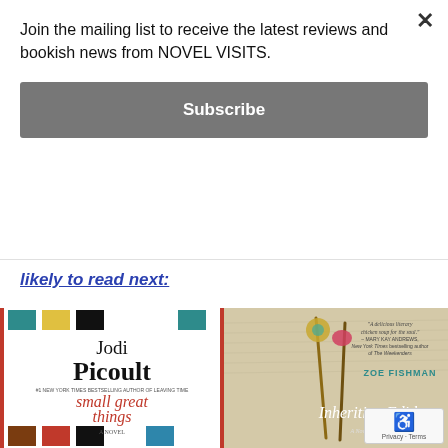Join the mailing list to receive the latest reviews and bookish news from NOVEL VISITS.
Subscribe
likely to read next:
[Figure (photo): Two book covers side by side: 'Small Great Things' by Jodi Picoult and 'Inheriting Edith' by Zoe Fishman]